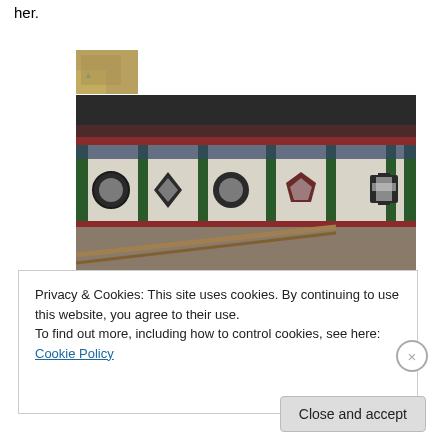her.
[Figure (photo): Traditional Chinese architecture corridor with decorative windows of different geometric shapes (circle, diamond, hexagon, pentagon, cross) set into white walls, green wooden pillars, dark tiled roof, and a wooden ramp/handrail in the foreground.]
[Figure (photo): Partial view of what appears to be cards or badges with text 'INV' visible, showing a dark card, a blue card, and a red element.]
Privacy & Cookies: This site uses cookies. By continuing to use this website, you agree to their use.
To find out more, including how to control cookies, see here: Cookie Policy